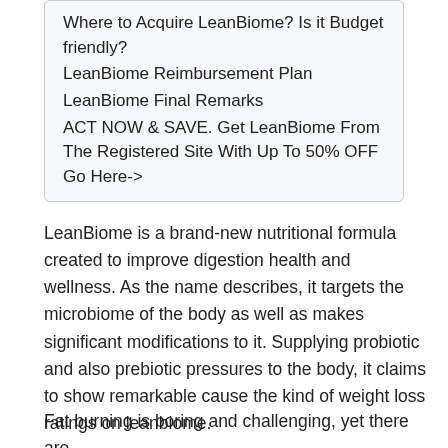Where to Acquire LeanBiome? Is it Budget friendly?
LeanBiome Reimbursement Plan
LeanBiome Final Remarks
ACT NOW & SAVE. Get LeanBiome From The Registered Site With Up To 50% OFF Go Here->
LeanBiome is a brand-new nutritional formula created to improve digestion health and wellness. As the name describes, it targets the microbiome of the body as well as makes significant modifications to it. Supplying probiotic and also prebiotic pressures to the body, it claims to show remarkable cause the kind of weight loss ratings on leanbiome.
Fat burning is boring and challenging, yet there are